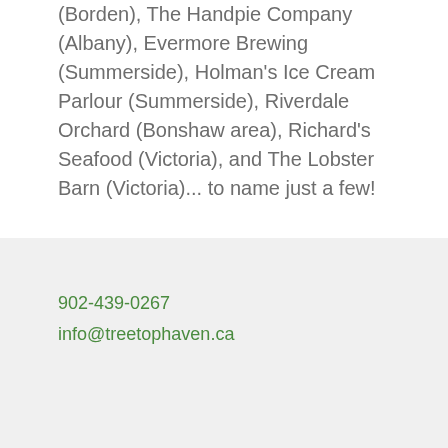(Borden), The Handpie Company (Albany), Evermore Brewing (Summerside), Holman's Ice Cream Parlour (Summerside), Riverdale Orchard (Bonshaw area), Richard's Seafood (Victoria), and The Lobster Barn (Victoria)... to name just a few!
902-439-0267
info@treetophaven.ca